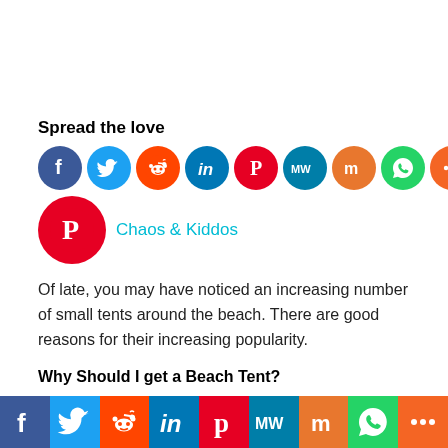Spread the love
[Figure (infographic): Row of social media sharing icon circles: Facebook (blue), Twitter (light blue), Reddit (orange-red), LinkedIn (dark blue), Pinterest (red), MeWe (teal), Mix (orange), WhatsApp (green), Share (orange)]
[Figure (logo): Large Pinterest circle logo with 'Chaos & Kiddos' text in teal beside it]
Of late, you may have noticed an increasing number of small tents around the beach. There are good reasons for their increasing popularity.
Why Should I get a Beach Tent?
That's a valid question. The hassle of carrying one leave
[Figure (infographic): Bottom bar with large social media share buttons: Facebook (blue), Twitter (light blue), Reddit (orange-red), LinkedIn (dark blue), Pinterest (red), MeWe (teal), Mix (orange), WhatsApp (green), Share (orange)]